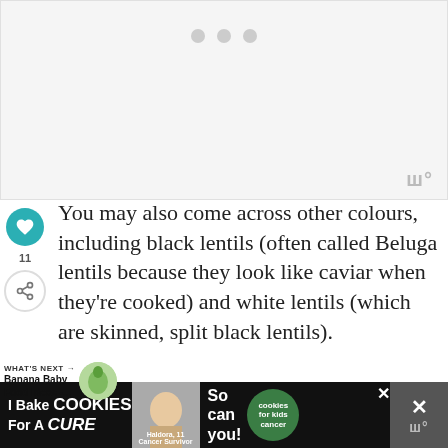[Figure (photo): Blank/loading image placeholder with three grey dots at top center and a watermark logo at bottom right]
You may also come across other colours, including black lentils (often called Beluga lentils because they look like caviar when they're cooked) and white lentils (which are skinned, split black lentils).
WHAT'S NEXT → Banana Baby Food Ideas -...
How to cook lentils for baby
[Figure (photo): Advertisement banner: I Bake COOKIES For A CURE — Haldora, 11 Cancer Survivor — So can you! — cookies for kids cancer logo]